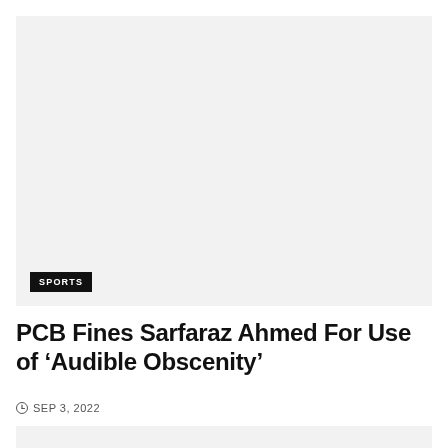[Figure (photo): Large image placeholder with light gray background, with a SPORTS category badge in bottom-left corner]
PCB Fines Sarfaraz Ahmed For Use of ‘Audible Obscenity’
SEP 3, 2022